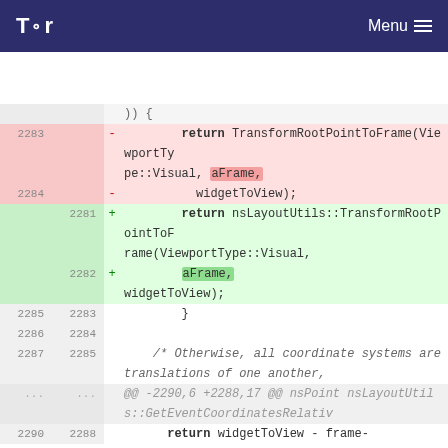Tor | Menu
[Figure (screenshot): A code diff view showing changes to C++ code. Removed lines (pink background, line numbers 2283-2284) show a return statement using TransformRootPointToFrame(ViewportType::Visual, aFrame, widgetToView). Added lines (green background, line numbers 2281-2282) show a return statement using nsLayoutUtils::TransformRootPointToFrame(ViewportType::Visual, aFrame, widgetToView). Neutral context lines (2285-2290) show closing brace, blank line, a comment about coordinate systems, an @@ diff hunk header, and a return statement.]